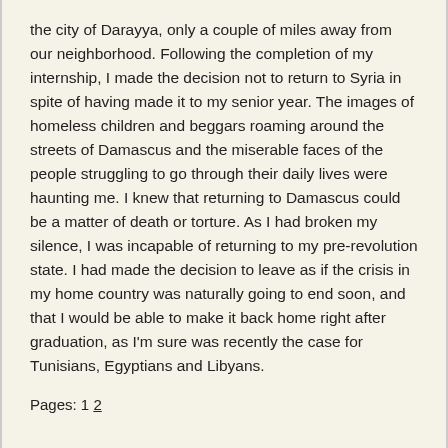the city of Darayya, only a couple of miles away from our neighborhood. Following the completion of my internship, I made the decision not to return to Syria in spite of having made it to my senior year. The images of homeless children and beggars roaming around the streets of Damascus and the miserable faces of the people struggling to go through their daily lives were haunting me. I knew that returning to Damascus could be a matter of death or torture. As I had broken my silence, I was incapable of returning to my pre-revolution state. I had made the decision to leave as if the crisis in my home country was naturally going to end soon, and that I would be able to make it back home right after graduation, as I'm sure was recently the case for Tunisians, Egyptians and Libyans.
Pages: 1 2